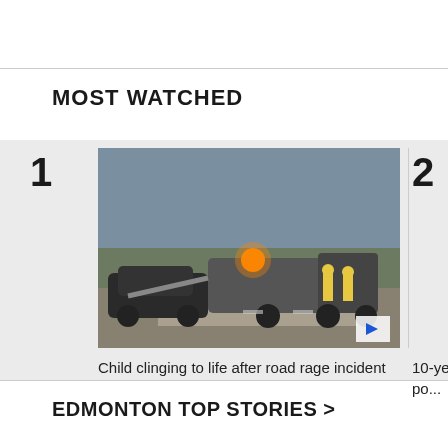MOST WATCHED
[Figure (photo): Road scene at dusk showing a tow truck with flashing orange lights loading a dark SUV, with firefighters in yellow gear standing nearby on a rural road.]
Child clinging to life after road rage incident
[Figure (photo): Partial image of a young boy, approximately 10 years old, wearing a green shirt, cropped at the right edge.]
10-ye... in po...
EDMONTON TOP STORIES >